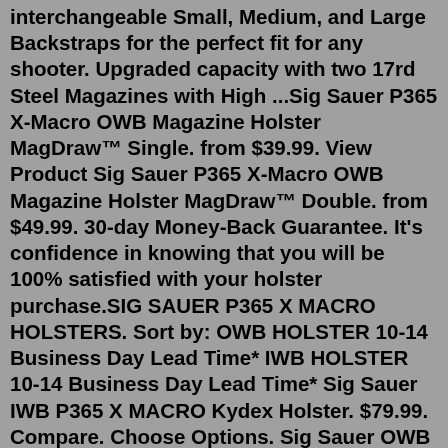interchangeable Small, Medium, and Large Backstraps for the perfect fit for any shooter. Upgraded capacity with two 17rd Steel Magazines with High ...Sig Sauer P365 X-Macro OWB Magazine Holster MagDraw™ Single. from $39.99. View Product Sig Sauer P365 X-Macro OWB Magazine Holster MagDraw™ Double. from $49.99. 30-day Money-Back Guarantee. It's confidence in knowing that you will be 100% satisfied with your holster purchase.SIG SAUER P365 X MACRO HOLSTERS. Sort by: OWB HOLSTER 10-14 Business Day Lead Time* IWB HOLSTER 10-14 Business Day Lead Time* Sig Sauer IWB P365 X MACRO Kydex Holster. $79.99. Compare. Choose Options. Sig Sauer OWB P365 X MACRO Kydex Holster. $69.99. Compare. Choose Options. Categories. SIG SAUER P365 X MACRO HOLSTERS ...The P365-XMACRO brings MORE of everything that made the P365 the #1 selling gun in America. With an innovative new magazine design, the P365-XMACRO packs a full-